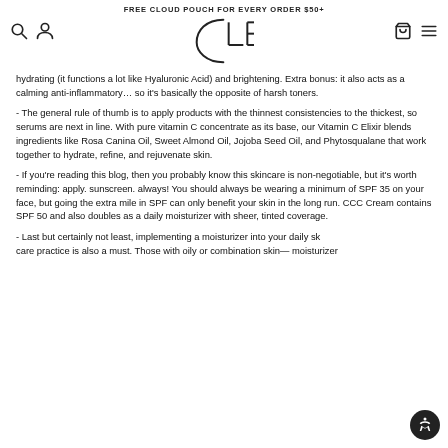FREE CLOUD POUCH FOR EVERY ORDER $50+
[Figure (logo): CLE cosmetics logo — stylized circle with C and LE letters]
hydrating (it functions a lot like Hyaluronic Acid) and brightening. Extra bonus: it also acts as a calming anti-inflammatory… so it's basically the opposite of harsh toners.
- The general rule of thumb is to apply products with the thinnest consistencies to the thickest, so serums are next in line. With pure vitamin C concentrate as its base, our Vitamin C Elixir blends ingredients like Rosa Canina Oil, Sweet Almond Oil, Jojoba Seed Oil, and Phytosqualane that work together to hydrate, refine, and rejuvenate skin.
- If you're reading this blog, then you probably know this skincare is non-negotiable, but it's worth reminding: apply. sunscreen. always! You should always be wearing a minimum of SPF 35 on your face, but going the extra mile in SPF can only benefit your skin in the long run. CCC Cream contains SPF 50 and also doubles as a daily moisturizer with sheer, tinted coverage.
- Last but certainly not least, implementing a moisturizer into your daily skincare practice is also a must. Those with oily or combination skin— moisturizer